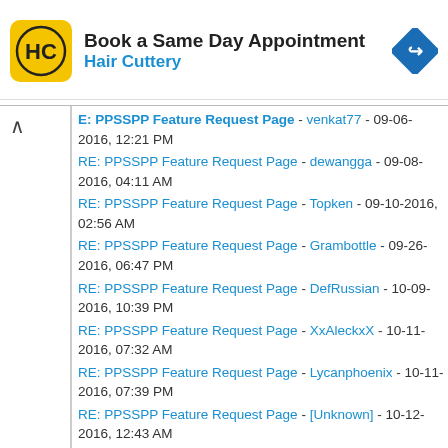[Figure (advertisement): Hair Cuttery ad banner: Book a Same Day Appointment with HC logo and navigation icon]
E: PPSSPP Feature Request Page - venkat77 - 09-06-2016, 12:21 PM
RE: PPSSPP Feature Request Page - dewangga - 09-08-2016, 04:11 AM
RE: PPSSPP Feature Request Page - Topken - 09-10-2016, 02:56 AM
RE: PPSSPP Feature Request Page - Grambottle - 09-26-2016, 06:47 PM
RE: PPSSPP Feature Request Page - DefRussian - 10-09-2016, 10:39 PM
RE: PPSSPP Feature Request Page - XxAleckxX - 10-11-2016, 07:32 AM
RE: PPSSPP Feature Request Page - Lycanphoenix - 10-11-2016, 07:39 PM
RE: PPSSPP Feature Request Page - [Unknown] - 10-12-2016, 12:43 AM
RE: PPSSPP Feature Request Page - Lycanphoenix - 10-12-2016, 01:24 AM
RE: PPSSPP Feature Request Page - LunaMoo - 10-12-2016, 10:40 PM